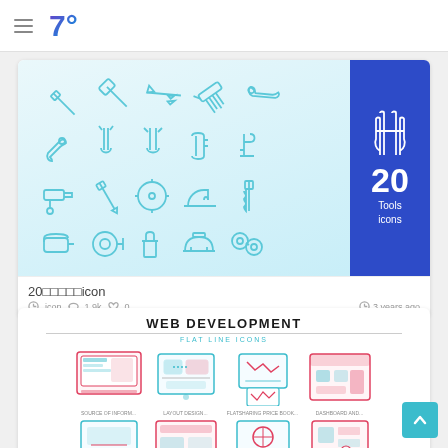7°
[Figure (illustration): Tools icon set preview card showing 20 tool icons (screwdriver, hammer, saw, wrench, pliers, etc.) in teal/blue outline style on a gradient background, with a blue badge showing '20 Tools icons']
20……icon
icon  1.9k  0    3 years ago
[Figure (illustration): Web Development Flat Line Icons set preview card showing 8 flat line icon thumbnails in a grid with blue/red/teal colors]
WEB DEVELOPMENT FLAT LINE ICONS